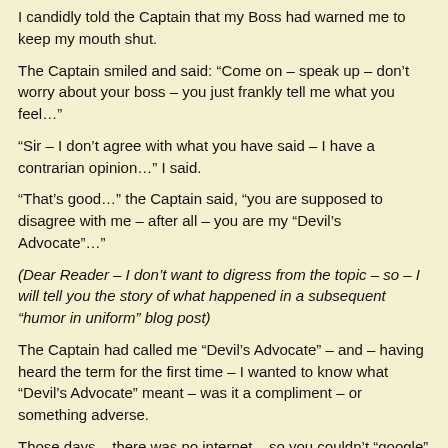I candidly told the Captain that my Boss had warned me to keep my mouth shut.
The Captain smiled and said: “Come on – speak up – don’t worry about your boss – you just frankly tell me what you feel…”
“Sir – I don’t agree with what you have said – I have a contrarian opinion…” I said.
“That’s good…” the Captain said, “you are supposed to disagree with me – after all – you are my “Devil’s Advocate”…”
(Dear Reader – I don’t want to digress from the topic – so – I will tell you the story of what happened in a subsequent “humor in uniform” blog post)
The Captain had called me “Devil’s Advocate” – and – having heard the term for the first time – I wanted to know what “Devil’s Advocate” meant – was it a compliment – or something adverse.
Those days – there was no internet – so you couldn’t “google” the term – so – I went to the ship’s library and pulled out the encyclopedia.